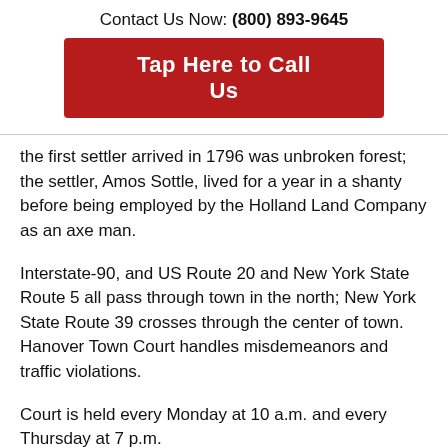Contact Us Now: (800) 893-9645
Tap Here to Call Us
the first settler arrived in 1796 was unbroken forest; the settler, Amos Sottle, lived for a year in a shanty before being employed by the Holland Land Company as an axe man.
Interstate-90, and US Route 20 and New York State Route 5 all pass through town in the north; New York State Route 39 crosses through the center of town. Hanover Town Court handles misdemeanors and traffic violations.
Court is held every Monday at 10 a.m. and every Thursday at 7 p.m.
Are you looking for a New York Traffic Ticket